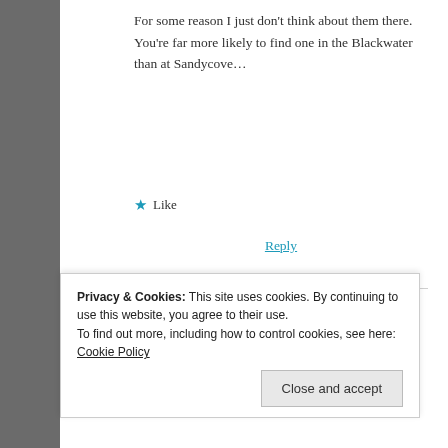For some reason I just don't think about them there. You're far more likely to find one in the Blackwater than at Sandycove…
★ Like
Reply
Cassie
February 7, 2019 at 12:05 pm
Exactly! I have a far of corpses or dead
Privacy & Cookies: This site uses cookies. By continuing to use this website, you agree to their use.
To find out more, including how to control cookies, see here: Cookie Policy
Close and accept